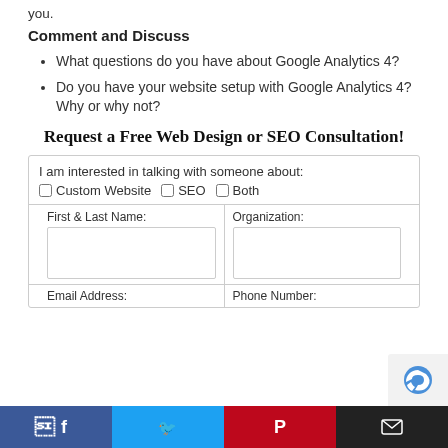you.
Comment and Discuss
What questions do you have about Google Analytics 4?
Do you have your website setup with Google Analytics 4? Why or why not?
Request a Free Web Design or SEO Consultation!
I am interested in talking with someone about: Custom Website  SEO  Both
First & Last Name: [input] Organization: [input]
Email Address:  Phone Number: